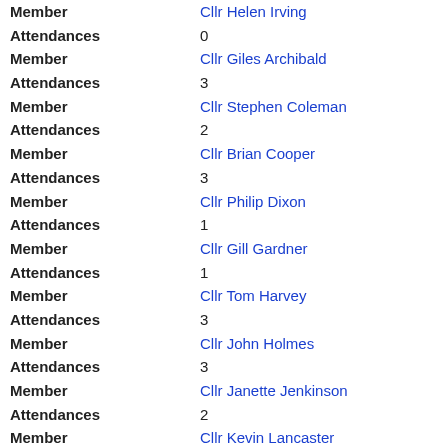Member: Cllr Helen Irving
Attendances: 0
Member: Cllr Giles Archibald
Attendances: 3
Member: Cllr Stephen Coleman
Attendances: 2
Member: Cllr Brian Cooper
Attendances: 3
Member: Cllr Philip Dixon
Attendances: 1
Member: Cllr Gill Gardner
Attendances: 1
Member: Cllr Tom Harvey
Attendances: 3
Member: Cllr John Holmes
Attendances: 3
Member: Cllr Janette Jenkinson
Attendances: 2
Member: Cllr Kevin Lancaster